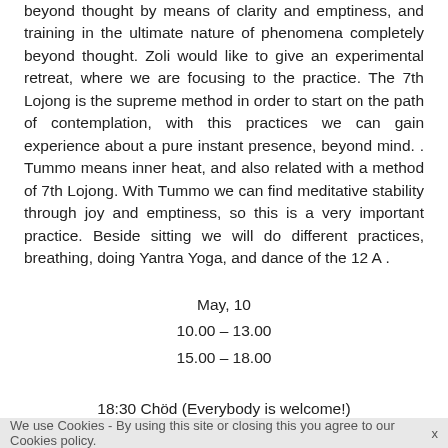beyond thought by means of clarity and emptiness, and training in the ultimate nature of phenomena completely beyond thought. Zoli would like to give an experimental retreat, where we are focusing to the practice. The 7th Lojong is the supreme method in order to start on the path of contemplation, with this practices we can gain experience about a pure instant presence, beyond mind. . Tummo means inner heat, and also related with a method of 7th Lojong. With Tummo we can find meditative stability through joy and emptiness, so this is a very important practice. Beside sitting we will do different practices, breathing, doing Yantra Yoga, and dance of the 12 A .
May, 10
10.00 – 13.00
15.00 – 18.00
18:30 Chöd (Everybody is welcome!)
We use Cookies - By using this site or closing this you agree to our Cookies policy.